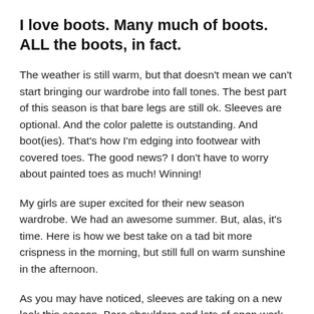I love boots. Many much of boots. ALL the boots, in fact.
The weather is still warm, but that doesn't mean we can't start bringing our wardrobe into fall tones. The best part of this season is that bare legs are still ok. Sleeves are optional. And the color palette is outstanding. And boot(ies). That's how I'm edging into footwear with covered toes. The good news? I don't have to worry about painted toes as much! Winning!
My girls are super excited for their new season wardrobe. We had an awesome summer. But, alas, it's time. Here is how we best take on a tad bit more crispness in the morning, but still full on warm sunshine in the afternoon.
As you may have noticed, sleeves are taking on a new look this season. Bare shoulders and lots of open work. Super fun. I love how Isabel has on a bit more fall like top but yet